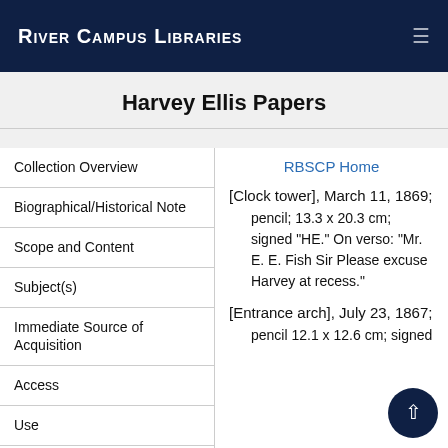River Campus Libraries
Harvey Ellis Papers
Collection Overview
Biographical/Historical Note
Scope and Content
Subject(s)
Immediate Source of Acquisition
Access
Use
RBSCP Home
[Clock tower], March 11, 1869; pencil; 13.3 x 20.3 cm; signed "HE." On verso: "Mr. E. E. Fish Sir Please excuse Harvey at recess."
[Entrance arch], July 23, 1867; pencil 12.1 x 12.6 cm; signed